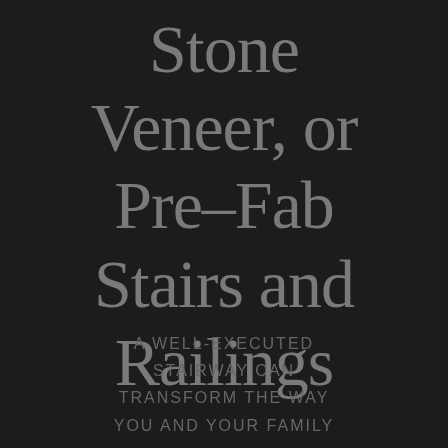Stone Veneer, or Pre-Fab Stairs and Railings
A WELL-EXECUTED STAIRWAY CAN TRANSFORM THE WAY YOU AND YOUR FAMILY